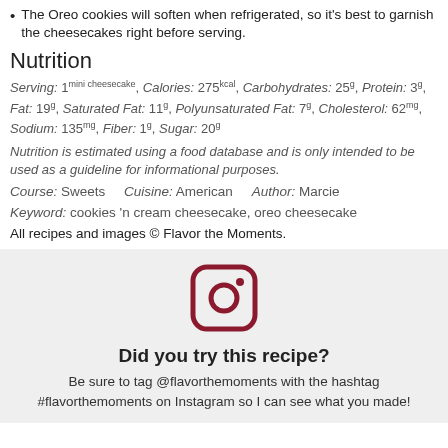The Oreo cookies will soften when refrigerated, so it's best to garnish the cheesecakes right before serving.
Nutrition
Serving: 1mini cheesecake, Calories: 275kcal, Carbohydrates: 25g, Protein: 3g, Fat: 19g, Saturated Fat: 11g, Polyunsaturated Fat: 7g, Cholesterol: 62mg, Sodium: 135mg, Fiber: 1g, Sugar: 20g
Nutrition is estimated using a food database and is only intended to be used as a guideline for informational purposes.
Course: Sweets    Cuisine: American    Author: Marcie
Keyword: cookies 'n cream cheesecake, oreo cheesecake
All recipes and images © Flavor the Moments.
[Figure (logo): Instagram camera icon, rounded square with circle and dot, dark red/maroon color]
Did you try this recipe?
Be sure to tag @flavorthemoments with the hashtag #flavorthemoments on Instagram so I can see what you made!